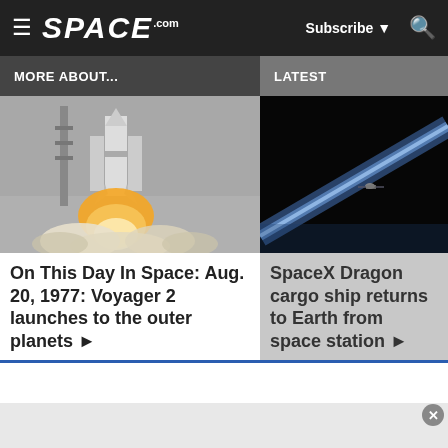SPACE.com — Subscribe — Search
MORE ABOUT...
LATEST
[Figure (photo): Rocket launching with flames and smoke at a launch pad]
On This Day In Space: Aug. 20, 1977: Voyager 2 launches to the outer planets ▶
[Figure (photo): SpaceX Dragon capsule in orbit above Earth with a thin blue atmospheric line visible]
SpaceX Dragon cargo ship returns to Earth from space station ▶